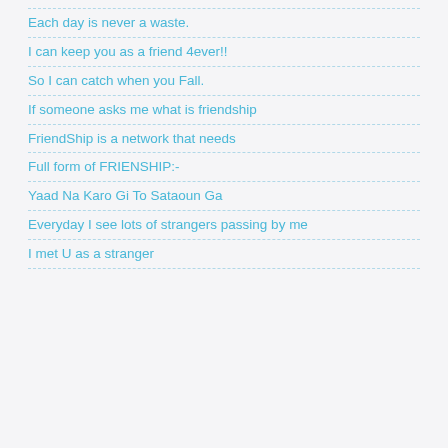Each day is never a waste.
I can keep you as a friend 4ever!!
So I can catch when you Fall.
If someone asks me what is friendship
FriendShip is a network that needs
Full form of FRIENSHIP:-
Yaad Na Karo Gi To Sataoun Ga
Everyday I see lots of strangers passing by me
I met U as a stranger